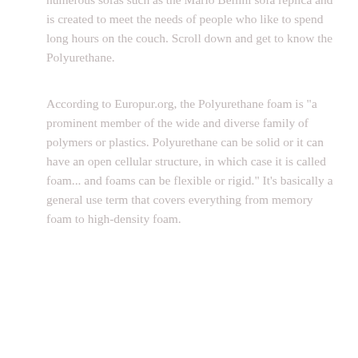numerous sofas such as the Mario Bellini sofa replica and is created to meet the needs of people who like to spend long hours on the couch. Scroll down and get to know the Polyurethane.
According to Europur.org, the Polyurethane foam is "a prominent member of the wide and diverse family of polymers or plastics. Polyurethane can be solid or it can have an open cellular structure, in which case it is called foam... and foams can be flexible or rigid." It's basically a general use term that covers everything from memory foam to high-density foam.